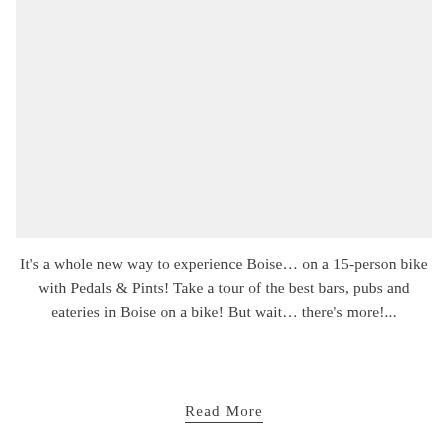[Figure (photo): Large light gray placeholder image area at the top of the page]
It's a whole new way to experience Boise… on a 15-person bike with Pedals & Pints! Take a tour of the best bars, pubs and eateries in Boise on a bike! But wait… there's more!...
Read More